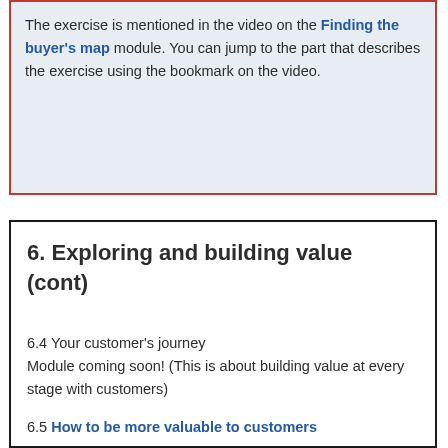The exercise is mentioned in the video on the Finding the buyer's map module. You can jump to the part that describes the exercise using the bookmark on the video.
6. Exploring and building value (cont)
6.4 Your customer's journey
Module coming soon! (This is about building value at every stage with customers)
6.5 How to be more valuable to customers